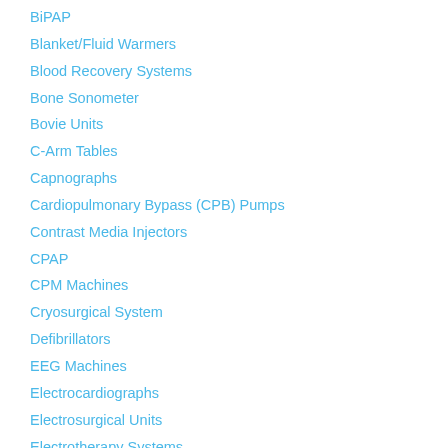BiPAP
Blanket/Fluid Warmers
Blood Recovery Systems
Bone Sonometer
Bovie Units
C-Arm Tables
Capnographs
Cardiopulmonary Bypass (CPB) Pumps
Contrast Media Injectors
CPAP
CPM Machines
Cryosurgical System
Defibrillators
EEG Machines
Electrocardiographs
Electrosurgical Units
Electrotherapy Systems